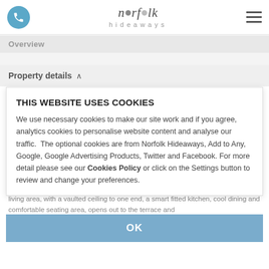norfolk hideaways — phone icon and hamburger menu
Overview
Property details ∧
THIS WEBSITE USES COOKIES
We use necessary cookies to make our site work and if you agree, analytics cookies to personalise website content and analyse our traffic.  The optional cookies are from Norfolk Hideaways, Add to Any, Google, Google Advertising Products, Twitter and Facebook. For more detail please see our Cookies Policy or click on the Settings button to review and change your preferences.
OK